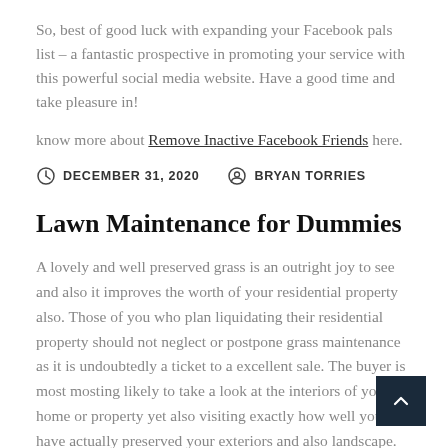So, best of good luck with expanding your Facebook pals list – a fantastic prospective in promoting your service with this powerful social media website. Have a good time and take pleasure in!
know more about Remove Inactive Facebook Friends here.
DECEMBER 31, 2020   BRYAN TORRIES
Lawn Maintenance for Dummies
A lovely and well preserved grass is an outright joy to see and also it improves the worth of your residential property also. Those of you who plan liquidating their residential property should not neglect or postpone grass maintenance as it is undoubtedly a ticket to a excellent sale. The buyer is most mosting likely to take a look at the interiors of your home or property yet also visiting exactly how well you have actually preserved your exteriors and also landscape. Impression is